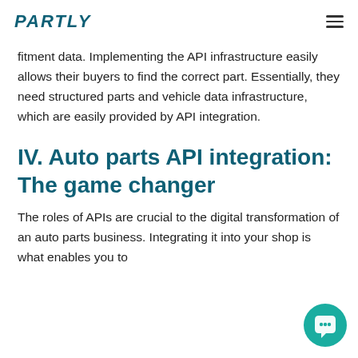PARTLY
fitment data. Implementing the API infrastructure easily allows their buyers to find the correct part. Essentially, they need structured parts and vehicle data infrastructure, which are easily provided by API integration.
IV. Auto parts API integration: The game changer
The roles of APIs are crucial to the digital transformation of an auto parts business. Integrating it into your shop is what enables you to